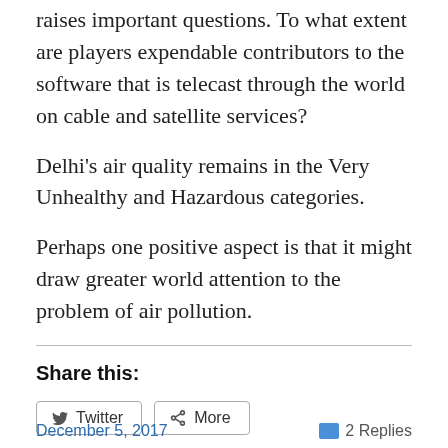raises important questions. To what extent are players expendable contributors to the software that is telecast through the world on cable and satellite services?
Delhi's air quality remains in the Very Unhealthy and Hazardous categories.
Perhaps one positive aspect is that it might draw greater world attention to the problem of air pollution.
Share this:
Loading...
December 5, 2017   2 Replies